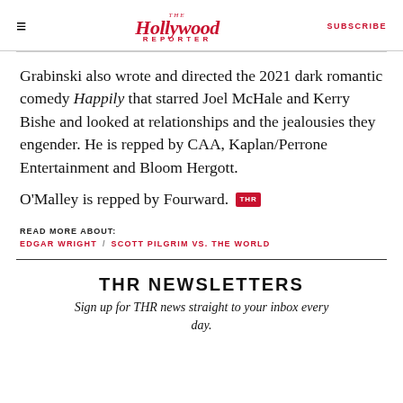The Hollywood Reporter | SUBSCRIBE
Grabinski also wrote and directed the 2021 dark romantic comedy Happily that starred Joel McHale and Kerry Bishe and looked at relationships and the jealousies they engender. He is repped by CAA, Kaplan/Perrone Entertainment and Bloom Hergott.
O'Malley is repped by Fourward. [THR]
READ MORE ABOUT:
EDGAR WRIGHT / SCOTT PILGRIM VS. THE WORLD
THR NEWSLETTERS
Sign up for THR news straight to your inbox every day.